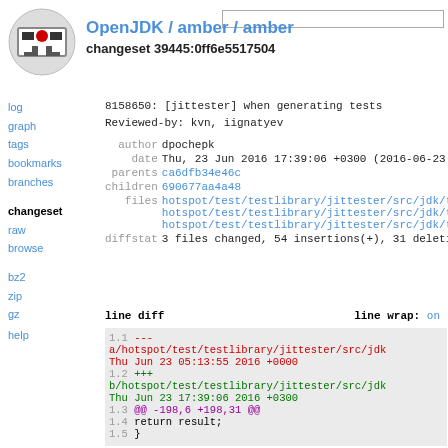OpenJDK / amber / amber changeset 39445:0ff6e5517504
8158650: [jittester] when generating tests
Reviewed-by: kvn, iignatyev
| field | value |
| --- | --- |
| author | dpochepk |
| date | Thu, 23 Jun 2016 17:39:06 +0300 (2016-06-23) |
| parents | ca6dfb34e46c |
| children | 690677aa4a48 |
| files | hotspot/test/testlibrary/jittester/src/jdk/test/lib/j
hotspot/test/testlibrary/jittester/src/jdk/test/lib/j
hotspot/test/testlibrary/jittester/src/jdk/test/lib/j |
| diffstat | 3 files changed, 54 insertions(+), 31 deletions(-) |
line diff   line wrap: on
1.1  ---
a/hotspot/test/testlibrary/jittester/src/jdk
Thu Jun 23 05:13:55 2016 +0000
1.2  +++
b/hotspot/test/testlibrary/jittester/src/jdk
Thu Jun 23 17:39:06 2016 +0300
1.3  @@ -198,6 +198,31 @@
1.4       return result;
1.5  }